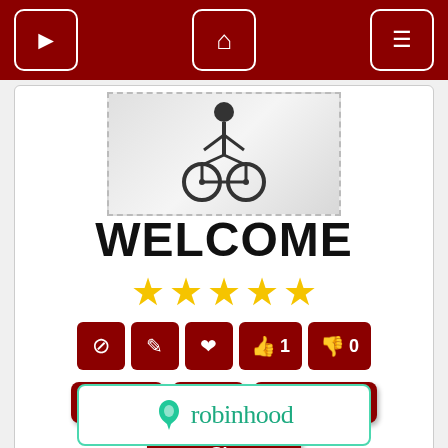[Figure (screenshot): Navigation bar with dark red background, three white-bordered buttons: forward arrow, home icon, and hamburger menu]
[Figure (illustration): Welcome image showing a bicycle rider silhouette above large bold WELCOME text, with 5 gold stars below]
[Figure (infographic): Row of dark red action icon buttons: ban, edit, heart, thumbs-up with count 1, thumbs-down with count 0]
[Figure (screenshot): Row of dark red buttons: HTML download, BB code, Direct Link, and Share]
[Figure (logo): Robinhood brand logo with teal leaf icon and robinhood text, inside teal-bordered rectangle]